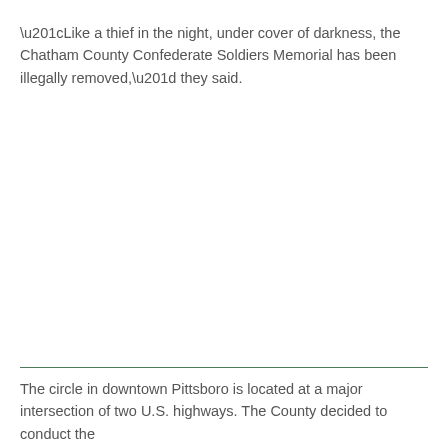“Like a thief in the night, under cover of darkness, the Chatham County Confederate Soldiers Memorial has been illegally removed,” they said.
The circle in downtown Pittsboro is located at a major intersection of two U.S. highways. The County decided to conduct the